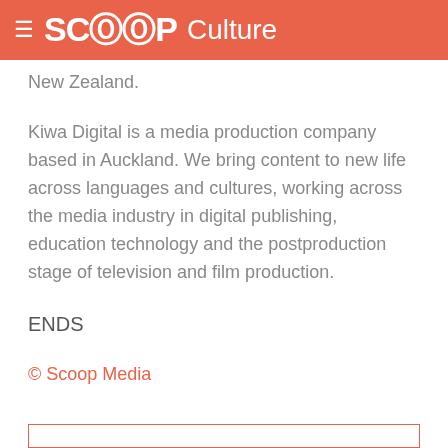SCOOP Culture
New Zealand.
Kiwa Digital is a media production company based in Auckland. We bring content to new life across languages and cultures, working across the media industry in digital publishing, education technology and the postproduction stage of television and film production.
ENDS
© Scoop Media